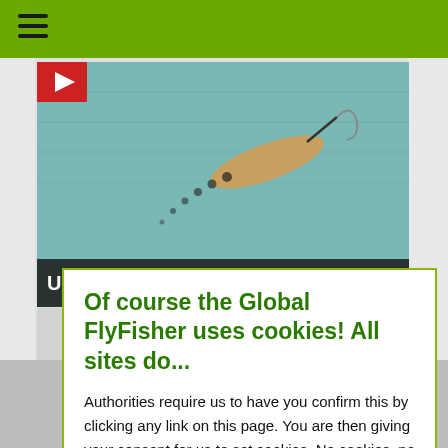[Figure (photo): Video thumbnail of a shrimp fly lure in water with a red play button overlay, labeled 'Ultimate Shrimp']
Of course the Global FlyFisher uses cookies! All sites do...
Authorities require us to have you confirm this by clicking any link on this page. You are then giving your consent for us to set cookies. No cookies, no GFF!
More about privacy and cookies
OK, I agree